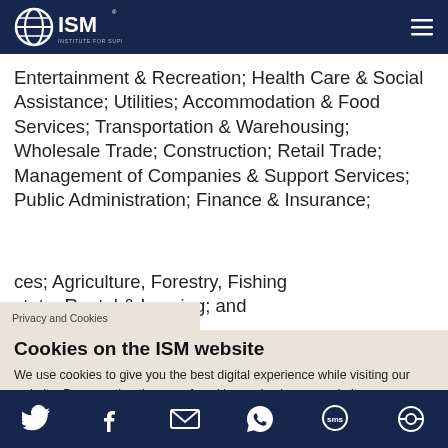ISM - Institute for Supply Management
Entertainment & Recreation; Health Care & Social Assistance; Utilities; Accommodation & Food Services; Transportation & Warehousing; Wholesale Trade; Construction; Retail Trade; Management of Companies & Support Services; Public Administration; Finance & Insurance; [Services]; Agriculture, Forestry, Fishing [and H]; [Real E]state, Rental & Leasing; and
Privacy and Cookies
Cookies on the ISM website
We use cookies to give you the best digital experience while visiting our website. By accepting the use of cookies and using our website you consent to all cookies in accordance with our Privacy Policy.
Privacy Policy    Contact Us
Social media icons: Twitter, Facebook, Email, WhatsApp, SMS, Other